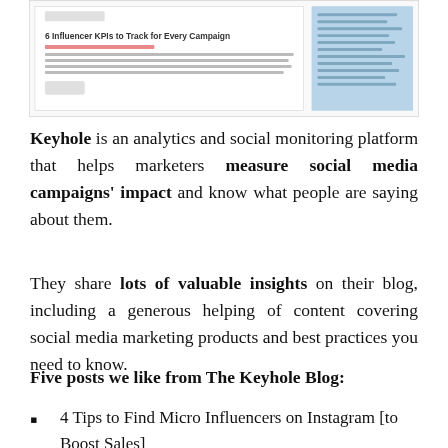[Figure (screenshot): Screenshot of a blog post page showing '6 Influencer KPIs to Track for Every Campaign' with sidebar navigation]
Keyhole is an analytics and social monitoring platform that helps marketers measure social media campaigns' impact and know what people are saying about them.
They share lots of valuable insights on their blog, including a generous helping of content covering social media marketing products and best practices you need to know.
Five posts we like from The Keyhole Blog:
4 Tips to Find Micro Influencers on Instagram [to Boost Sales]
The Top 15 Hashtag Analytics Tools in 2021